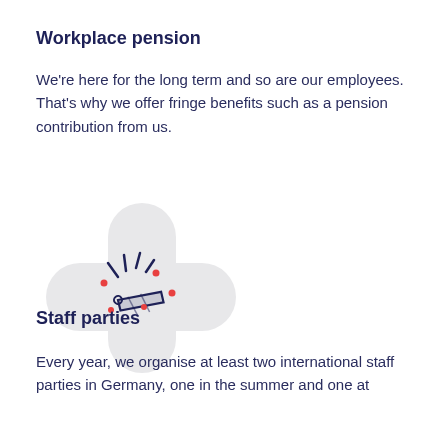Workplace pension
We're here for the long term and so are our employees. That's why we offer fringe benefits such as a pension contribution from us.
[Figure (illustration): A light gray cross/plus shape with a party popper/cracker illustration in dark navy and red dots, on a white background, representing staff celebration or party.]
Staff parties
Every year, we organise at least two international staff parties in Germany, one in the summer and one at